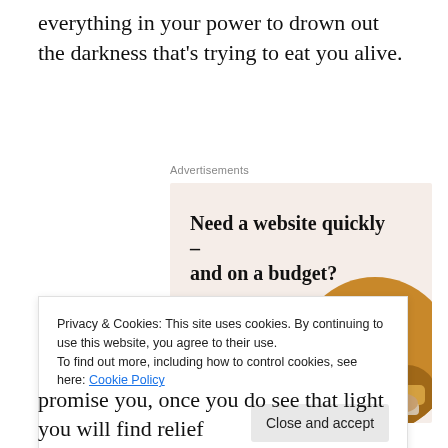everything in your power to drown out the darkness that's trying to eat you alive.
[Figure (infographic): Advertisement banner with beige background. Headline: 'Need a website quickly – and on a budget?' Subtext: 'Let us build it for you'. Button: 'Let's get started'. Circular photo of person working on laptop.]
Privacy & Cookies: This site uses cookies. By continuing to use this website, you agree to their use.
To find out more, including how to control cookies, see here: Cookie Policy
promise you, once you do see that light you will find relief